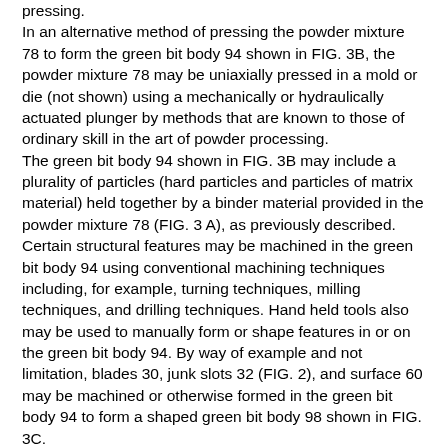pressing. In an alternative method of pressing the powder mixture 78 to form the green bit body 94 shown in FIG. 3B, the powder mixture 78 may be uniaxially pressed in a mold or die (not shown) using a mechanically or hydraulically actuated plunger by methods that are known to those of ordinary skill in the art of powder processing. The green bit body 94 shown in FIG. 3B may include a plurality of particles (hard particles and particles of matrix material) held together by a binder material provided in the powder mixture 78 (FIG. 3 A), as previously described. Certain structural features may be machined in the green bit body 94 using conventional machining techniques including, for example, turning techniques, milling techniques, and drilling techniques. Hand held tools also may be used to manually form or shape features in or on the green bit body 94. By way of example and not limitation, blades 30, junk slots 32 (FIG. 2), and surface 60 may be machined or otherwise formed in the green bit body 94 to form a shaped green bit body 98 shown in FIG. 3C. The shaped green bit body 98 shown in FIG. 3C may be at least partially sintered to provide a brown bit body